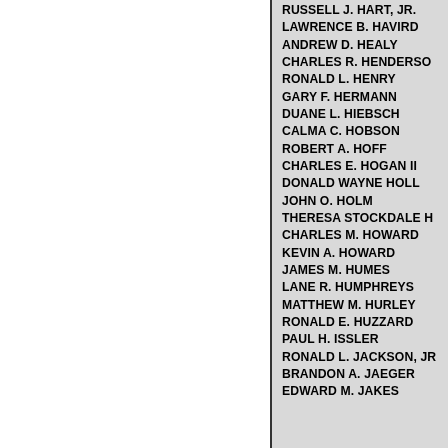RUSSELL J. HART, JR.
LAWRENCE B. HAVIRD
ANDREW D. HEALY
CHARLES R. HENDERSON
RONALD L. HENRY
GARY F. HERMANN
DUANE L. HIEBSCH
CALMA C. HOBSON
ROBERT A. HOFF
CHARLES E. HOGAN II
DONALD WAYNE HOLL
JOHN O. HOLM
THERESA STOCKDALE H
CHARLES M. HOWARD
KEVIN A. HOWARD
JAMES M. HUMES
LANE R. HUMPHREYS
MATTHEW M. HURLEY
RONALD E. HUZZARD
PAUL H. ISSLER
RONALD L. JACKSON, JR
BRANDON A. JAEGER
EDWARD M. JAKES